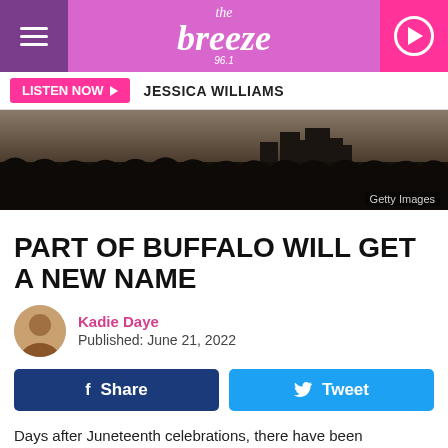[Figure (logo): The Breeze 96.1 radio station logo on pink/purple background with hamburger menu and play button]
LISTEN NOW ▶   JESSICA WILLIAMS
[Figure (photo): Aerial photo of Buffalo city skyline in winter with bare trees in foreground, dark moody sky]
Getty Images
PART OF BUFFALO WILL GET A NEW NAME
Kadie Daye
Published: June 21, 2022
Days after Juneteenth celebrations, there have been